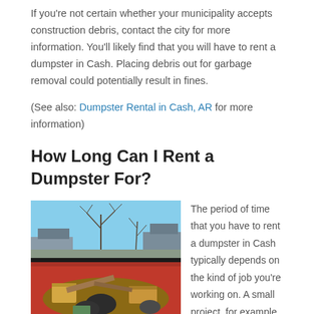If you're not certain whether your municipality accepts construction debris, contact the city for more information. You'll likely find that you will have to rent a dumpster in Cash. Placing debris out for garbage removal could potentially result in fines.
(See also: Dumpster Rental in Cash, AR for more information)
How Long Can I Rent a Dumpster For?
[Figure (photo): A red dumpster filled with construction debris and trash, photographed outdoors with bare trees and a house visible in the background under a blue sky.]
The period of time that you have to rent a dumpster in Cash typically depends on the kind of job you're working on. A small project, for example a cellar clean out,